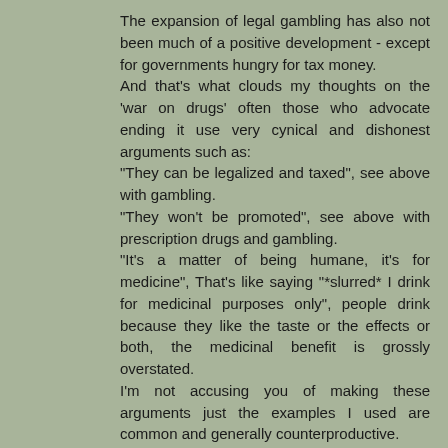The expansion of legal gambling has also not been much of a positive development - except for governments hungry for tax money.
And that's what clouds my thoughts on the 'war on drugs' often those who advocate ending it use very cynical and dishonest arguments such as:
"They can be legalized and taxed", see above with gambling.
"They won't be promoted", see above with prescription drugs and gambling.
"It's a matter of being humane, it's for medicine", That's like saying "*slurred* I drink for medicinal purposes only", people drink because they like the taste or the effects or both, the medicinal benefit is grossly overstated.
I'm not accusing you of making these arguments just the examples I used are common and generally counterproductive.
p.s. another term that grates on me is "medically addicted". Perhaps at first someone was using that drug for legitimate purposes, but it quickly morphed into doing it to 'get high' to doing it just to avoid the hell of withdrawal.